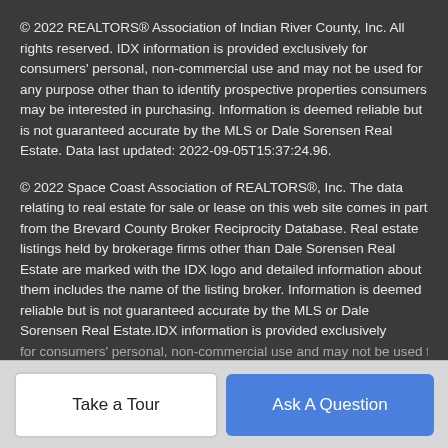© 2022 REALTORS® Association of Indian River County, Inc. All rights reserved. IDX information is provided exclusively for consumers' personal, non-commercial use and may not be used for any purpose other than to identify prospective properties consumers may be interested in purchasing. Information is deemed reliable but is not guaranteed accurate by the MLS or Dale Sorensen Real Estate. Data last updated: 2022-09-05T15:37:24.96.
© 2022 Space Coast Association of REALTORS®, Inc. The data relating to real estate for sale or lease on this web site comes in part from the Brevard County Broker Reciprocity Database. Real estate listings held by brokerage firms other than Dale Sorensen Real Estate are marked with the IDX logo and detailed information about them includes the name of the listing broker. Information is deemed reliable but is not guaranteed accurate by the MLS or Dale Sorensen Real Estate.IDX information is provided exclusively for consumers' personal, non-commercial use and may not be used for
Take a Tour
Ask A Question